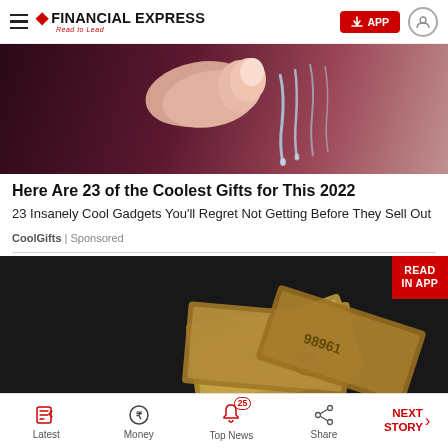FINANCIAL EXPRESS | Read to Lead | APP
[Figure (photo): Close-up of a finger touching running water streams against a dark purple/maroon background — advertisement image for CoolGifts]
Here Are 23 of the Coolest Gifts for This 2022
23 Insanely Cool Gadgets You'll Regret Not Getting Before They Sell Out
CoolGifts | Sponsored
[Figure (photo): Indian currency notes (Rupee) fanned out on a dark background with a 'READ IN APP' red banner in the top-right corner]
Latest | Money | Top News 25 | Share | NEXT STORY